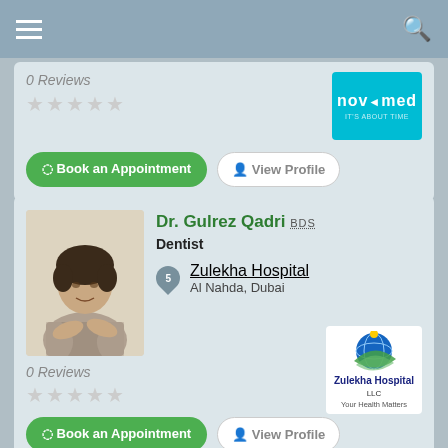0 Reviews
[Figure (logo): Novomed logo, cyan/teal background, white text]
Book an Appointment
View Profile
Dr. Gulrez Qadri BDS
Dentist
Zulekha Hospital
Al Nahda, Dubai
[Figure (logo): Zulekha Hospital logo with globe and green swoosh, text: Zulekha Hospital LLC, Your Health Matters]
0 Reviews
Book an Appointment
View Profile
Request your telehealth consultation